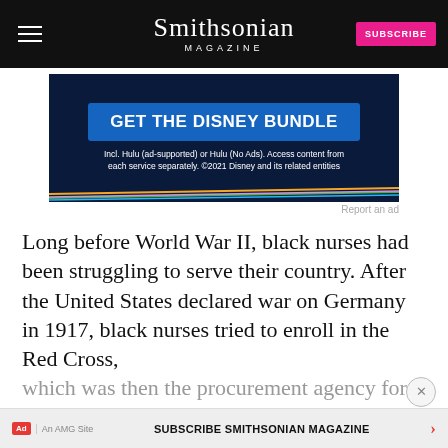Smithsonian MAGAZINE
[Figure (other): Disney Bundle advertisement banner with dark blue background, blue GET THE DISNEY BUNDLE button, and colorful lines at bottom]
Report an ad
Long before World War II, black nurses had been struggling to serve their country. After the United States declared war on Germany in 1917, black nurses tried to enroll in the Red Cross, which was then the procurement agency for the Army Nurse Corps. The Red Cross rejected them, because they didn't have the required membership in the American Nurses'
Report an ad
SUBSCRIBE SMITHSONIAN MAGAZINE